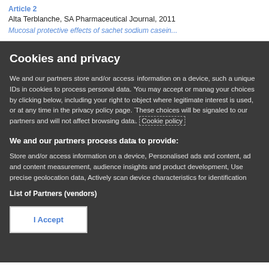Alta Terblanche, SA Pharmaceutical Journal, 2011
Mucosal protective effects of sachet sodium casein...
Cookies and privacy
We and our partners store and/or access information on a device, such as unique IDs in cookies to process personal data. You may accept or manage your choices by clicking below, including your right to object where legitimate interest is used, or at any time in the privacy policy page. These choices will be signaled to our partners and will not affect browsing data. Cookie policy
We and our partners process data to provide:
Store and/or access information on a device, Personalised ads and content, ad and content measurement, audience insights and product development, Use precise geolocation data, Actively scan device characteristics for identification
List of Partners (vendors)
I Accept